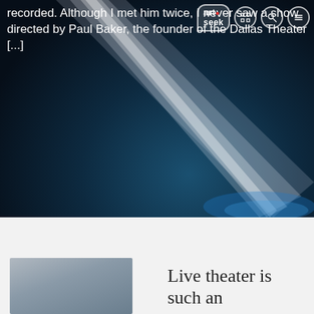[Figure (photo): Dark theatrical stage photo with a dramatic white light beam cutting diagonally across a dark blue-black background, website header image for ArtSeek]
recorded. Although I met him twice, I never saw a show directed by Paul Baker, the founder of the Dallas Theater [...]
[Figure (logo): ArtSeek logo in speech bubble shape with grid icon, search icon, and menu icon navigation buttons overlaid on the hero image]
Live theater is such an
[Figure (photo): Small thumbnail image of a theatrical scene, partially visible at bottom left]